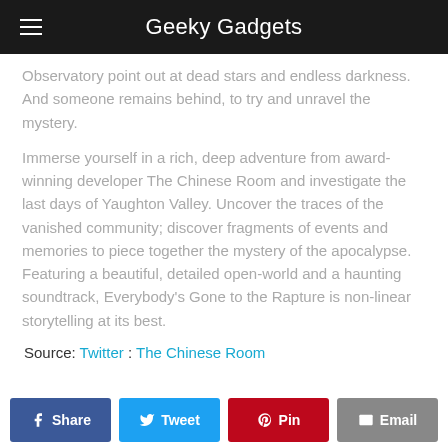Geeky Gadgets
Observatory point out at dead stars and endless darkness. And someone remains behind, to try and unravel the mystery.
Immerse yourself in a rich, deep adventure from award-winning developer The Chinese Room and investigate the last days of Yaughton Valley. Uncover the traces of the vanished community; discover fragments of events and memories to piece together the mystery of the apocalypse. Featuring a beautiful, detailed open-world and a haunting soundtrack, Everybody’s Gone to the Rapture is non-linear storytelling at its best.
Source: Twitter : The Chinese Room
[Figure (other): Social share buttons: Share (Facebook), Tweet (Twitter), Pin (Pinterest), Email]